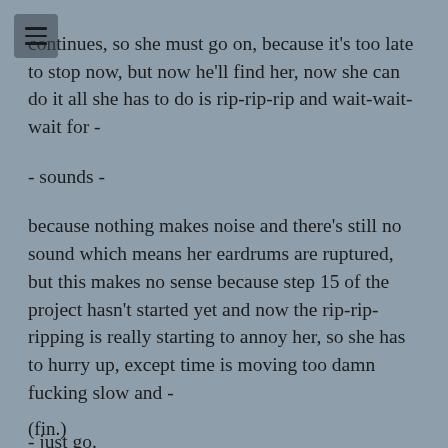continues, so she must go on, because it's too late to stop now, but now he'll find her, now she can do it all she has to do is rip-rip-rip and wait-wait-wait for -
- sounds -
because nothing makes noise and there's still no sound which means her eardrums are ruptured, but this makes no sense because step 15 of the project hasn't started yet and now the rip-rip-ripping is really starting to annoy her, so she has to hurry up, except time is moving too damn fucking slow and -
- just go.
(fin.)